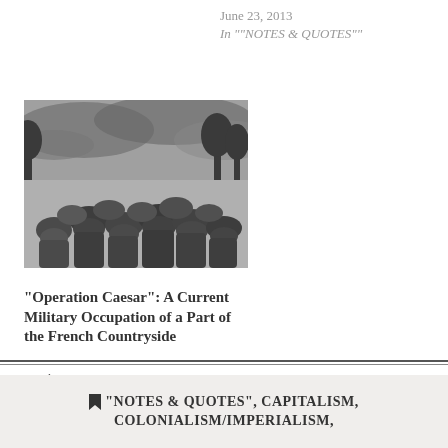June 23, 2013
In ""NOTES & QUOTES""
[Figure (photo): Black and white photograph of soldiers wearing helmets, viewed from behind, in a field with trees and dramatic cloudy sky]
"Operation Caesar": A Current Military Occupation of a Part of the French Countryside
October 29, 2012
In "CAPITALISM"
"NOTES & QUOTES", CAPITALISM, COLONIALISM/IMPERIALISM,